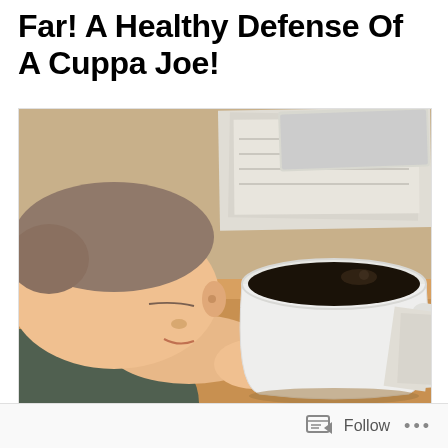Far! A Healthy Defense Of A Cuppa Joe!
[Figure (photo): Person with head resting on desk next to an oversized white mug full of black coffee, papers and documents in background on a wooden desk]
Follow ...